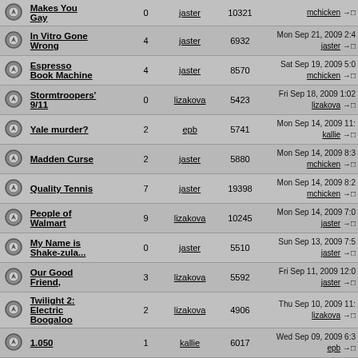|  | Topic | Replies | Author | Views | Last Post |
| --- | --- | --- | --- | --- | --- |
| [icon] | Makes You Gay | 0 | jaster | 10321 | mchicken →□ |
| [icon] | In Vitro Gone Wrong | 4 | jaster | 6932 | Mon Sep 21, 2009 2:4 jaster →□ |
| [icon] | Espresso Book Machine | 4 | jaster | 8570 | Sat Sep 19, 2009 5:0 mchicken →□ |
| [icon] | Stormtroopers' 9/11 | 0 | lizakova | 5423 | Fri Sep 18, 2009 1:02 lizakova →□ |
| [icon] | Yale murder? | 2 | epb | 5741 | Mon Sep 14, 2009 11: kallie →□ |
| [icon] | Madden Curse | 2 | jaster | 5880 | Mon Sep 14, 2009 8:3 mchicken →□ |
| [icon] | Quality Tennis | 7 | jaster | 19398 | Mon Sep 14, 2009 8:2 mchicken →□ |
| [icon] | People of Walmart | 9 | lizakova | 10245 | Mon Sep 14, 2009 7:0 jaster →□ |
| [icon] | My Name is Shake-zula... | 0 | jaster | 5510 | Sun Sep 13, 2009 7:5 jaster →□ |
| [icon] | Our Good Friend, | 3 | lizakova | 5592 | Fri Sep 11, 2009 12:0 jaster →□ |
| [icon] | Twilight 2: Electric Boogaloo | 2 | lizakova | 4906 | Thu Sep 10, 2009 11: lizakova →□ |
| [icon] | 1.050 | 1 | kallie | 6017 | Wed Sep 09, 2009 6:3 epb →□ |
| [icon] | Anonymous on the Internet | 0 | jaster | 7740 | Sun Sep 06, 2009 12: jaster →□ |
| [icon] | The Show has Reached a... | 0 | jaster | 9266 | Sun Sep 06, 2009 12: |